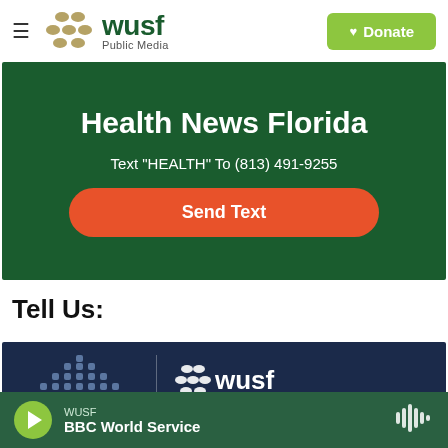[Figure (logo): WUSF Public Media logo with hamburger menu and Donate button]
Health News Florida
Text "HEALTH" To (813) 491-9255
Send Text
Tell Us:
[Figure (logo): ELECTIONS bar chart icon with WUSF logo on dark blue background]
WUSF — BBC World Service (player bar)